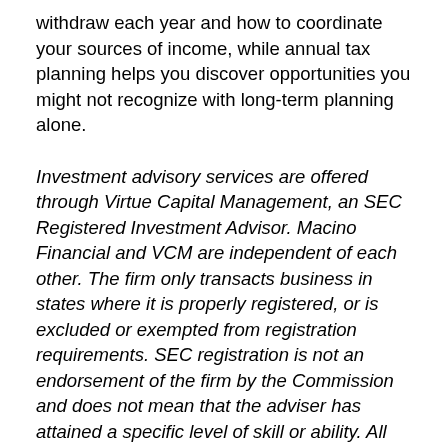withdraw each year and how to coordinate your sources of income, while annual tax planning helps you discover opportunities you might not recognize with long-term planning alone.
Investment advisory services are offered through Virtue Capital Management, an SEC Registered Investment Advisor. Macino Financial and VCM are independent of each other. The firm only transacts business in states where it is properly registered, or is excluded or exempted from registration requirements. SEC registration is not an endorsement of the firm by the Commission and does not mean that the adviser has attained a specific level of skill or ability. All investment strategies have the potential for profit or loss. Changes in investment strategies, economic conditions, contributions or withdrawals may significantly alter a portfolio's performance. There is no guarantee that any specific investment or strategy will be suitable or profitable for a particular client. Past performance is no guarantee of future success. We cannot guarantee that a